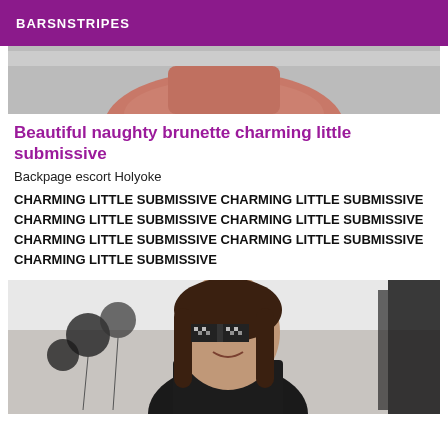BARSNSTRIPES
[Figure (photo): Partial photo of a person in orange/red top, cropped at torso, gray background]
Beautiful naughty brunette charming little submissive
Backpage escort Holyoke
CHARMING LITTLE SUBMISSIVE CHARMING LITTLE SUBMISSIVE CHARMING LITTLE SUBMISSIVE CHARMING LITTLE SUBMISSIVE CHARMING LITTLE SUBMISSIVE CHARMING LITTLE SUBMISSIVE CHARMING LITTLE SUBMISSIVE
[Figure (photo): Photo of a smiling brunette woman wearing pixelated sunglasses meme overlay, in a store/shop setting with dark clothing racks visible]